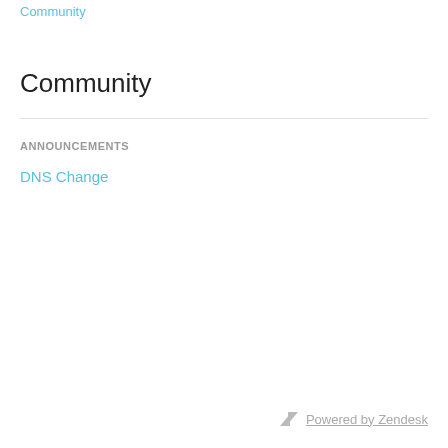Community
Community
ANNOUNCEMENTS
DNS Change
Powered by Zendesk